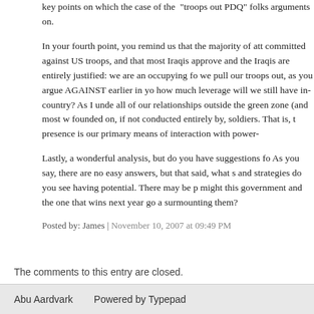key points on which the case of the 'troops out PDQ' folks arguments on.
In your fourth point, you remind us that the majority of att committed against US troops, and that most Iraqis approve and the Iraqis are entirely justified: we are an occupying fo we pull our troops out, as you argue AGAINST earlier in yo how much leverage will we still have in-country? As I unde all of our relationships outside the green zone (and most w founded on, if not conducted entirely by, soldiers. That is, t presence is our primary means of interaction with power-
Lastly, a wonderful analysis, but do you have suggestions fo As you say, there are no easy answers, but that said, what s and strategies do you see having potential. There may be p might this government and the one that wins next year go a surmounting them?
Posted by: James | November 10, 2007 at 09:49 PM
The comments to this entry are closed.
Abu Aardvark    Powered by Typepad